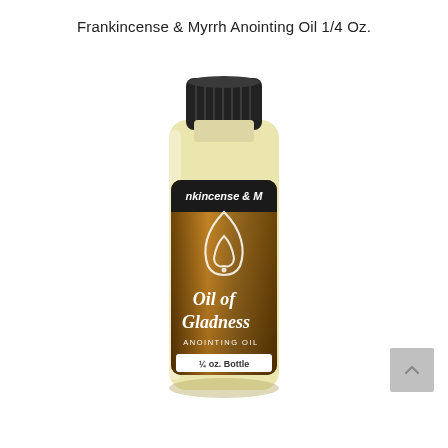Frankincense & Myrrh Anointing Oil 1/4 Oz.
[Figure (photo): A small glass bottle of 'Oil of Gladness Anointing Oil' by Oil of Gladness brand. The bottle has a black ribbed cap, a dark brown/gold label with the text 'nkincense & M' (Frankincense & Myrrh) at the top of the label, a white teardrop/oil drop logo, cursive text reading 'Oil of Gladness', 'ANOINTING OIL', and '¼ oz. Bottle'. The bottle contains pale yellow oil and is photographed on a white background.]